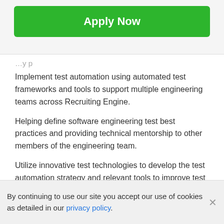Apply Now
Implement test automation using automated test frameworks and tools to support multiple engineering teams across Recruiting Engine.
Helping define software engineering test best practices and providing technical mentorship to other members of the engineering team.
Utilize innovative test technologies to develop the test automation strategy and relevant tools to improve test efficiency.
Building continuous test and deployment systems…
By continuing to use our site you accept our use of cookies as detailed in our privacy policy.